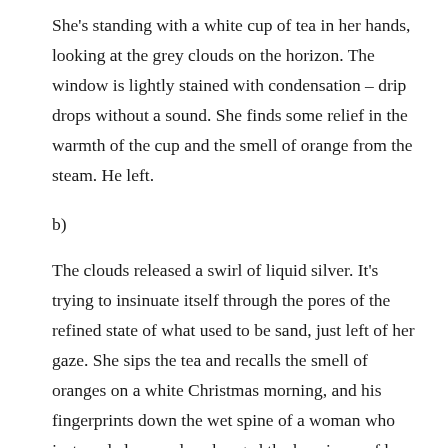She’s standing with a white cup of tea in her hands, looking at the grey clouds on the horizon. The window is lightly stained with condensation – drip drops without a sound. She finds some relief in the warmth of the cup and the smell of orange from the steam. He left.
b)
The clouds released a swirl of liquid silver. It’s trying to insinuate itself through the pores of the refined state of what used to be sand, just left of her gaze. She sips the tea and recalls the smell of oranges on a white Christmas morning, and his fingerprints down the wet spine of a woman who just made love and exchanged the heaviness of her heart with the one in her head. A condensation of pain.